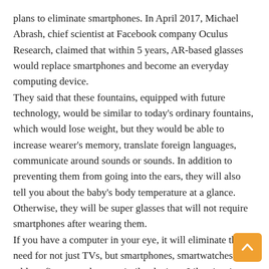plans to eliminate smartphones. In April 2017, Michael Abrash, chief scientist at Facebook company Oculus Research, claimed that within 5 years, AR-based glasses would replace smartphones and become an everyday computing device. They said that these fountains, equipped with future technology, would be similar to today's ordinary fountains, which would lose weight, but they would be able to increase wearer's memory, translate foreign languages, communicate around sounds or sounds. In addition to preventing them from going into the ears, they will also tell you about the baby's body temperature at a glance. Otherwise, they will be super glasses that will not require smartphones after wearing them. If you have a computer in your eye, it will eliminate the need for not just TVs, but smartphones, smartwatches, tablets, fitness trackers or similar devices. Likewise, in 2016, senior Facebook executive David Marks said They also stated their intention to eliminate the phone number. They say that because of the growing popularity of messenger, phone numbers are now being counted. See how long Facebook experts claim this has become a reality.
[Figure (other): Orange back-to-top button with upward chevron arrow in bottom-right corner]